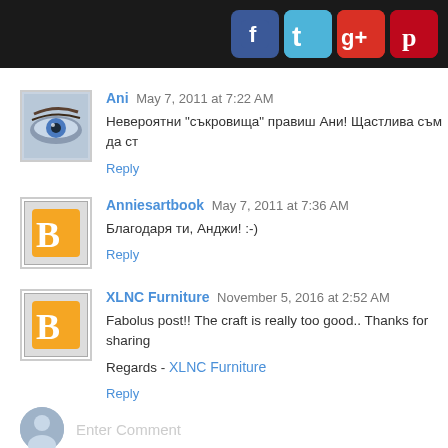[Figure (other): Dark header bar with Facebook, Twitter, Google+, and Pinterest social media icons]
Ani  May 7, 2011 at 7:22 AM
Невероятни "съкровища" правиш Ани! Щастлива съм да ст
Reply
Anniesartbook  May 7, 2011 at 7:36 AM
Благодаря ти, Анджи! :-)
Reply
XLNC Furniture  November 5, 2016 at 2:52 AM
Fabolus post!! The craft is really too good.. Thanks for sharing
Regards - XLNC Furniture
Reply